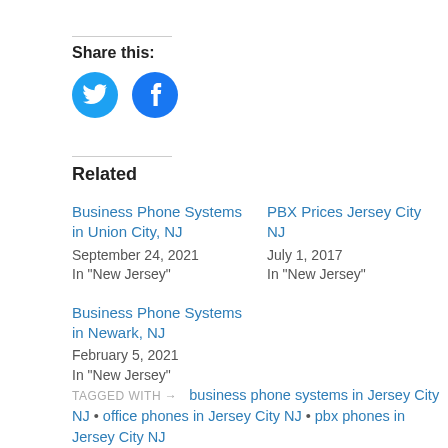Share this:
[Figure (illustration): Twitter and Facebook share buttons as blue circles with white icons]
Related
Business Phone Systems in Union City, NJ
September 24, 2021
In "New Jersey"
PBX Prices Jersey City NJ
July 1, 2017
In "New Jersey"
Business Phone Systems in Newark, NJ
February 5, 2021
In "New Jersey"
TAGGED WITH → business phone systems in Jersey City NJ • office phones in Jersey City NJ • pbx phones in Jersey City NJ